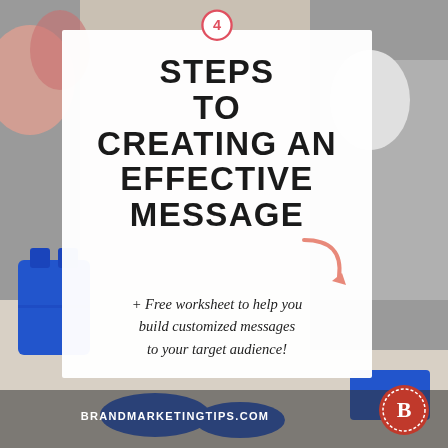[Figure (infographic): Lifestyle photo background showing a woman's blue shoes and handbag on a carpet, with a sofa in the background. A white card overlay contains the main text content. A red circle with the number 4 is at the top of the card. A pink curved arrow decorative element appears to the right of the title. A red circular brand logo with letter B is in the bottom right.]
4 STEPS TO CREATING AN EFFECTIVE MESSAGE
+ Free worksheet to help you build customized messages to your target audience!
BRANDMARKETINGTIPS.COM